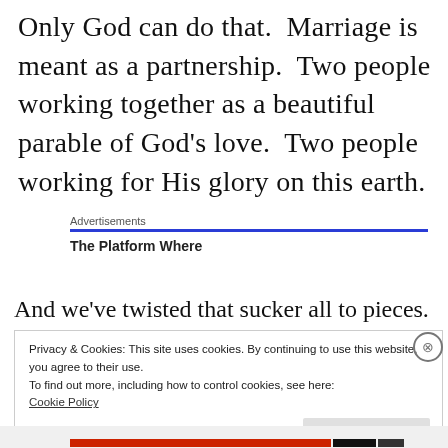Only God can do that.  Marriage is meant as a partnership.  Two people working together as a beautiful parable of God’s love.  Two people working for His glory on this earth.
[Figure (other): Advertisement section with label 'Advertisements', a blue horizontal rule, and bold text 'The Platform Where']
And we’ve twisted that sucker all to pieces.
Privacy & Cookies: This site uses cookies. By continuing to use this website, you agree to their use.
To find out more, including how to control cookies, see here:
Cookie Policy
Close and accept